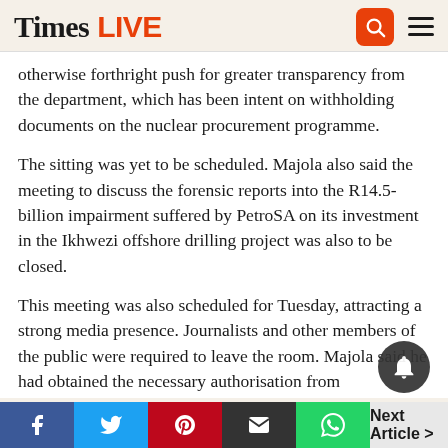Times LIVE
otherwise forthright push for greater transparency from the department, which has been intent on withholding documents on the nuclear procurement programme.
The sitting was yet to be scheduled. Majola also said the meeting to discuss the forensic reports into the R14.5-billion impairment suffered by PetroSA on its investment in the Ikhwezi offshore drilling project was also to be closed.
This meeting was also scheduled for Tuesday, attracting a strong media presence. Journalists and other members of the public were required to leave the room. Majola said he had obtained the necessary authorisation from parliamentary authorities to close the meeting which would be addressed by the PetroSA board.
Next Article >